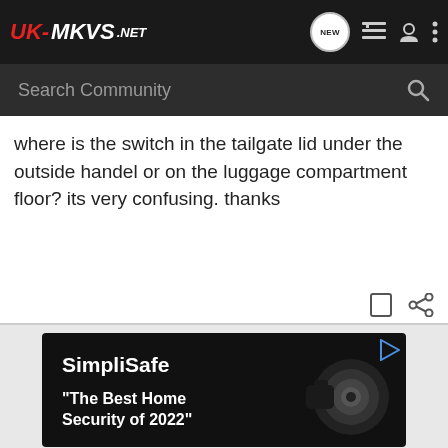UK-MKVs.NET — Navigation header with logo, NEW button, list icon, user icon, more icon
Search Community
where is the switch in the tailgate lid under the outside handel or on the luggage compartment floor? its very confusing. thanks
[Figure (screenshot): Bookmark and share icons in action row]
[Figure (screenshot): SimpliSafe advertisement banner with text 'The Best Home Security of 2022' and camera image]